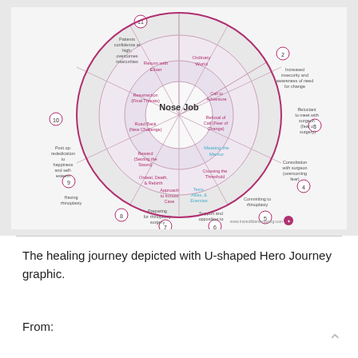[Figure (infographic): Circular Hero Journey diagram labeled 'Nose Job' in the center, with 11 stages arranged in a wheel. Inner ring shows journey stages in pink/magenta and blue text (Return with Elixer, Ordinary World, Call to Adventure, Refusal of Call (Fear of Change), Meeting the Mentor, Tests Allies & Enemies, Approach to Inmost Cave, Ordeal Death & Rebirth, Reward (Seizing the Sword), Road Back (New Challenge), Resurrection (Final Threats)). Outer ring shows real-world rhinoplasty correlates. Numbers 2-11 mark positions around the outside. Attribution: www.incrediblemarketing.com]
The healing journey depicted with U-shaped Hero Journey graphic.
From: